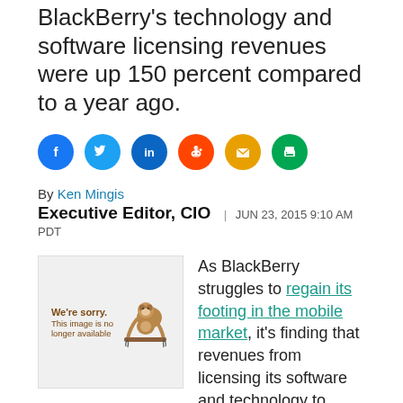BlackBerry's technology and software licensing revenues were up 150 percent compared to a year ago.
[Figure (infographic): Social sharing icons: Facebook (blue), Twitter (light blue), LinkedIn (dark blue), Reddit (orange), Email (yellow/orange), Print (green)]
By Ken Mingis
Executive Editor, CIO | JUN 23, 2015 9:10 AM PDT
[Figure (photo): Image placeholder showing 'We're sorry. This image is no longer available' with a sloth illustration]
As BlackBerry struggles to regain its footing in the mobile market, it's finding that revenues from licensing its software and technology to companies are a rare bright spot in an overall moribund financial picture.
The company reported quarterly earnings this